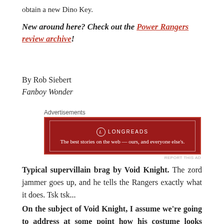obtain a new Dino Key.
New around here? Check out the Power Rangers review archive!
By Rob Siebert
Fanboy Wonder
[Figure (other): Longreads advertisement banner: dark red background with Longreads logo and tagline 'The best stories on the web — ours, and everyone else's.']
Typical supervillain brag by Void Knight. The zord jammer goes up, and he tells the Rangers exactly what it does. Tsk tsk...
On the subject of Void Knight, I assume we're going to address at some point how his costume looks eerily similar to the Rangers' suits? He's got a similar sword,